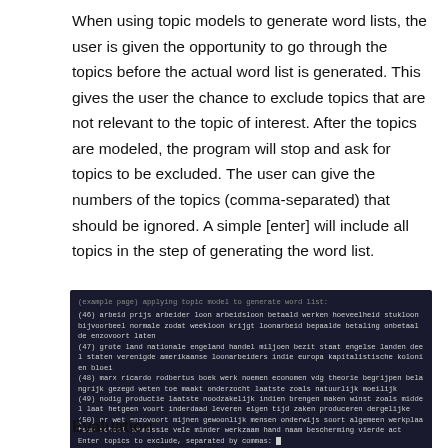When using topic models to generate word lists, the user is given the opportunity to go through the topics before the actual word list is generated. This gives the user the chance to exclude topics that are not relevant to the topic of interest. After the topics are modeled, the program will stop and ask for topics to be excluded. The user can give the numbers of the topics (comma-separated) that should be ignored. A simple [enter] will include all topics in the step of generating the word list.
[Figure (screenshot): Terminal screenshot showing topic model output with topics 46-50 in Dutch text, ending with a prompt 'Enter topics to exclude, separated by commas:']
Evaluation